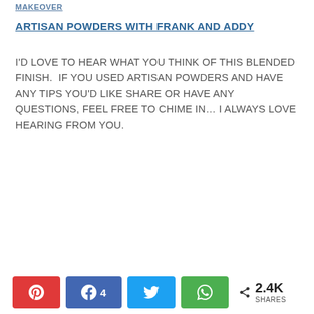MAKEOVER
ARTISAN POWDERS WITH FRANK AND ADDY
I'D LOVE TO HEAR WHAT YOU THINK OF THIS BLENDED FINISH.  IF YOU USED ARTISAN POWDERS AND HAVE ANY TIPS YOU'D LIKE SHARE OR HAVE ANY QUESTIONS, FEEL FREE TO CHIME IN… I ALWAYS LOVE HEARING FROM YOU.
[Figure (infographic): Social share bar with Pinterest, Facebook (4), Twitter, WhatsApp buttons and 2.4K shares total]